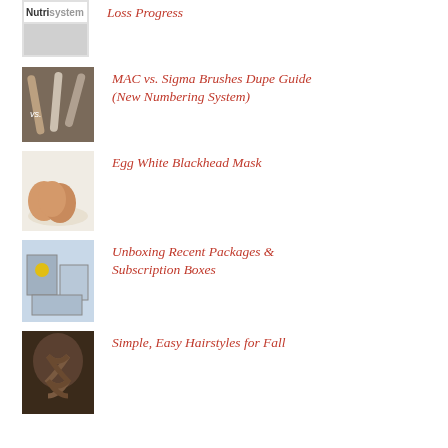Loss Progress
MAC vs. Sigma Brushes Dupe Guide (New Numbering System)
Egg White Blackhead Mask
Unboxing Recent Packages & Subscription Boxes
Simple, Easy Hairstyles for Fall